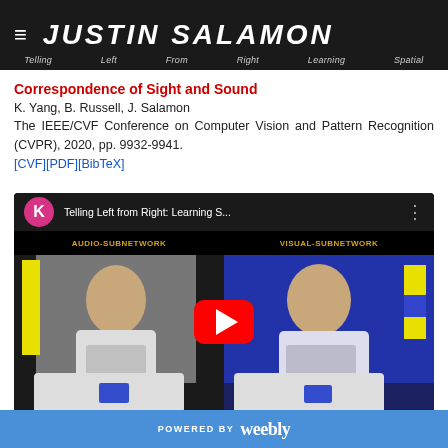JUSTIN SALAMON
Telling  Left  From  Right  Learning  Spatial
Correspondence of Sight and Sound
K. Yang, B. Russell, J. Salamon
The IEEE/CVF Conference on Computer Vision and Pattern Recognition (CVPR), 2020, pp. 9932-9941.
[CVF][PDF][BibTeX]
[Figure (screenshot): YouTube video thumbnail showing 'Telling Left from Right: Learning S...' with two side-by-side video frames labeled AUDIO-SUBNETWORK and VISUAL-SUBNETWORK, a red YouTube play button overlay, and a pink K avatar icon.]
POWERED BY weebly